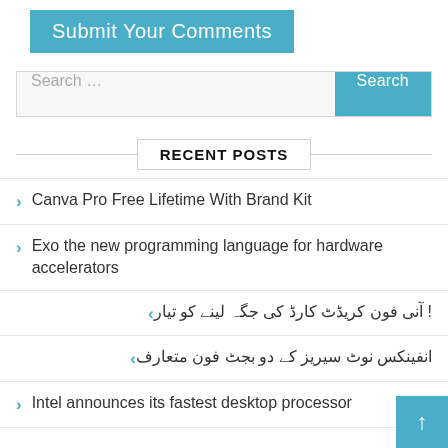Submit Your Comments
Search …
RECENT POSTS
Canva Pro Free Lifetime With Brand Kit
Exo the new programming language for hardware accelerators
! آنی فون کریڈٹ کارڈ کی جگہ لینے کو تیار
انفینکس نوٹ سیریز کے دو بجٹ فون متعارف
Intel announces its fastest desktop processor